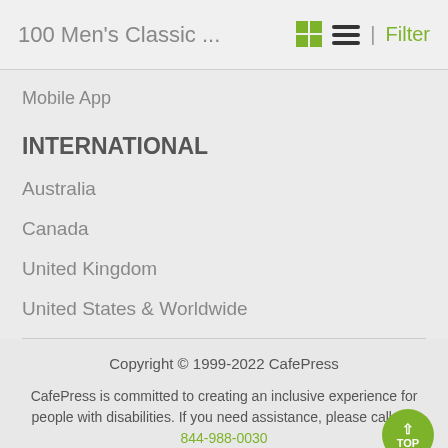100 Men's Classic ...
Mobile App
INTERNATIONAL
Australia
Canada
United Kingdom
United States & Worldwide
Copyright © 1999-2022 CafePress
CafePress is committed to creating an inclusive experience for people with disabilities. If you need assistance, please call +1-844-988-0030